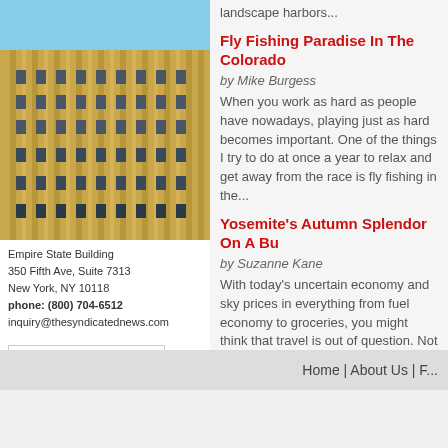[Figure (photo): Looking-up photo of the Empire State Building facade showing Art Deco architecture with golden limestone exterior and windows against a blue sky]
Empire State Building
350 Fifth Ave, Suite 7313
New York, NY 10118
phone: (800) 704-6512
inquiry@thesyndicatednews.com
[Figure (logo): GoDaddy Verified & Secured badge with green lock icon and 'VERIFY SECURITY' text]
landscape harbors...
Fly Fishing Paradise In The Colorado
by Mike Burgess
When you work as hard as people have nowadays, playing just as hard becomes important. One of the things I try to do at once a year to relax and get away from the race is fly fishing in the...
Yosemite's Autumn Splendor On A Bu
by Suzanne Kane
With today's uncertain economy and sky prices in everything from fuel economy to groceries, you might think that travel is out of question. Not so, if you plan wisely. Calif (and state...
Home | About Us | F...